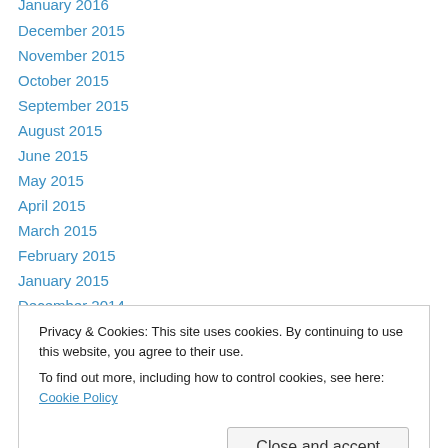January 2016
December 2015
November 2015
October 2015
September 2015
August 2015
June 2015
May 2015
April 2015
March 2015
February 2015
January 2015
December 2014
October 2014
February 2014
Privacy & Cookies: This site uses cookies. By continuing to use this website, you agree to their use. To find out more, including how to control cookies, see here: Cookie Policy